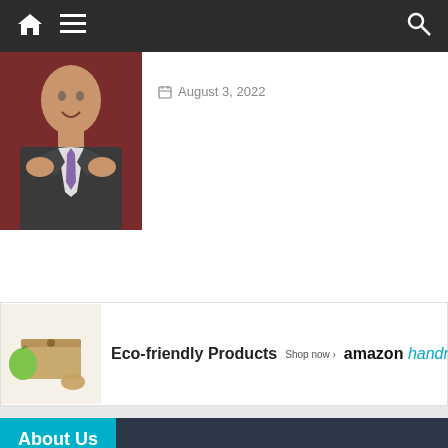Navigation bar with home, menu, and search icons
[Figure (photo): Man in suit adjusting jacket lapels, photographed against a dark red/brown background]
August 3, 2022
[Figure (photo): Advertisement banner for Eco-friendly Products on Amazon Handmade, showing a wooden lunch box and green apple]
About Us
Incentive & Motivation
We are the longest standing title in the reward and incentive